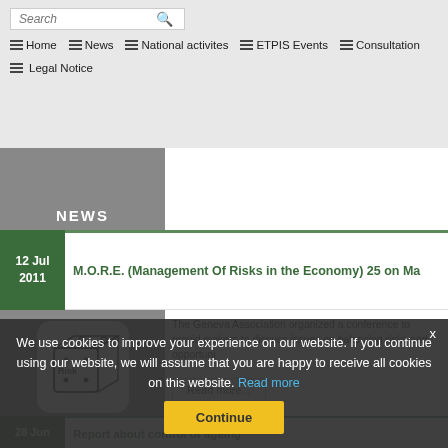Search | Home | News | National activites | ETPIS Events | Consultation | Legal Notice
[Figure (screenshot): Partially visible grey news thumbnail with NEWS label]
12 Jul 2011
M.O.R.E. (Management Of Risks in the Economy) 25 on Ma
[Figure (illustration): Dice with Risk label on white rounded rectangle background, over grey image area with NEWS label]
The Geneva Association organized a conference to provide makers to discuss issues on balancing risks and opportuni
Read more...
We use cookies to improve your experience on our website. If you continue using our website, we will assume that you are happy to receive all cookies on this website. Read more
Continue
28 Jun
Report about control of ageing